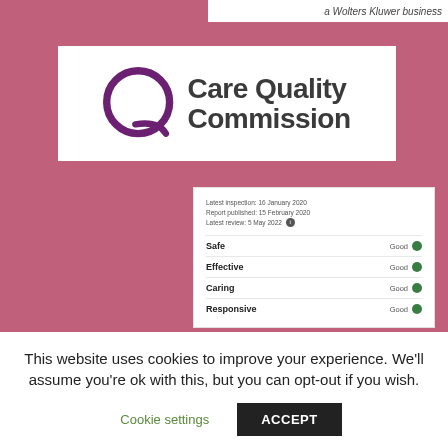a Wolters Kluwer business
[Figure (logo): Care Quality Commission logo with purple Q circle and text 'CareQuality Commission']
[Figure (screenshot): CQC ratings panel showing Latest inspection: 16 January 2020, Report published: 15 February 2020, Latest review: 5 May 2022. Ratings: Safe - Good, Effective - Good, Caring - Good, Responsive - Good]
This website uses cookies to improve your experience. We'll assume you're ok with this, but you can opt-out if you wish.
Cookie settings   ACCEPT